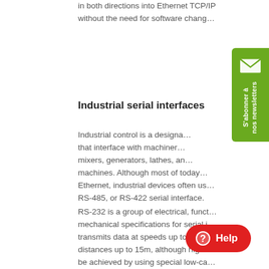in both directions into Ethernet TCP/IP without the need for software changes.
Industrial serial interfaces
Industrial control is a designated area that interface with machinery such as mixers, generators, lathes, and other machines. Although most of today's Ethernet, industrial devices often use RS-485, or RS-422 serial interface.
RS-232 is a group of electrical, functional mechanical specifications for serial interfaces, transmits data at speeds up to 115 k distances up to 15m, although higher can be achieved by using special low-capacitance cable. Both sync and async transmission fall under and the original RS-232 connector is DB25.